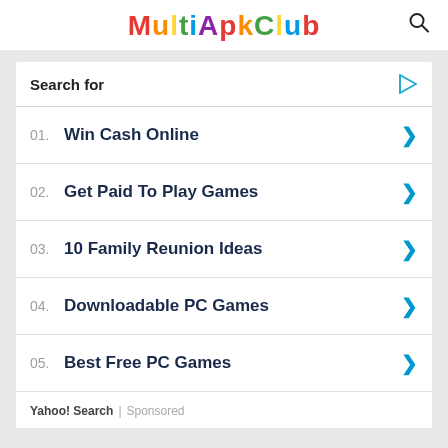MultiApkClub
Search for
01. Win Cash Online
02. Get Paid To Play Games
03. 10 Family Reunion Ideas
04. Downloadable PC Games
05. Best Free PC Games
Yahoo! Search | Sponsored